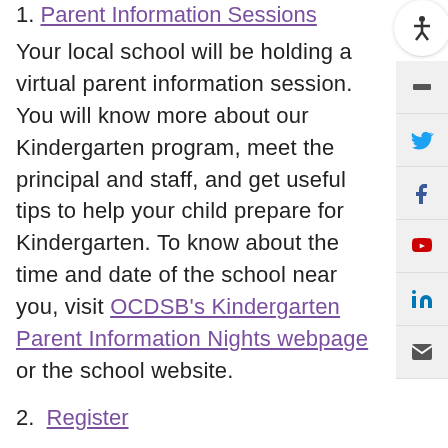1. Parent Information Sessions
Your local school will be holding a virtual parent information session. You will know more about our Kindergarten program, meet the principal and staff, and get useful tips to help your child prepare for Kindergarten. To know about the time and date of the school near you, visit OCDSB's Kindergarten Parent Information Nights webpage or the school website.
2. Register
Registration for Kindergarten is an easy three-step process.
Find your School >> Complete the Registration forms >> Collect Documents.